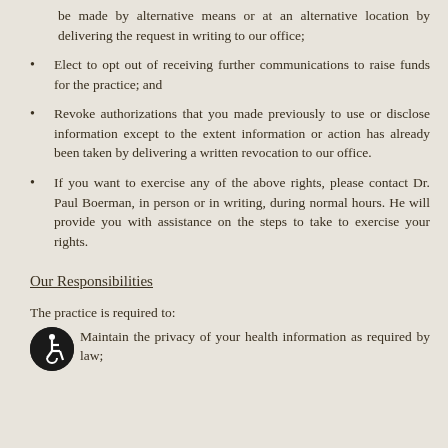be made by alternative means or at an alternative location by delivering the request in writing to our office;
Elect to opt out of receiving further communications to raise funds for the practice; and
Revoke authorizations that you made previously to use or disclose information except to the extent information or action has already been taken by delivering a written revocation to our office.
If you want to exercise any of the above rights, please contact Dr. Paul Boerman, in person or in writing, during normal hours. He will provide you with assistance on the steps to take to exercise your rights.
Our Responsibilities
The practice is required to:
Maintain the privacy of your health information as required by law;